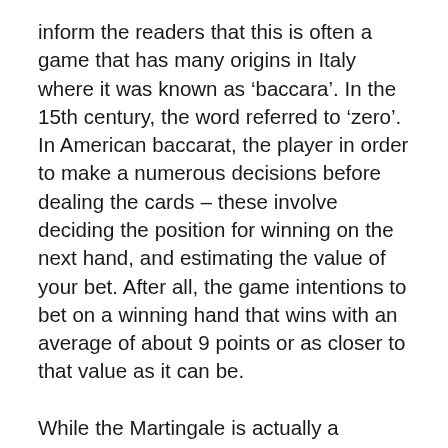inform the readers that this is often a game that has many origins in Italy where it was known as 'baccara'. In the 15th century, the word referred to 'zero'. In American baccarat, the player in order to make a numerous decisions before dealing the cards – these involve deciding the position for winning on the next hand, and estimating the value of your bet. After all, the game intentions to bet on a winning hand that wins with an average of about 9 points or as closer to that value as it can be.
While the Martingale is actually a negative progression system that is a surefire leave you broke over the long term, you might give it a try for a medium-long period of playing sexy baccarat. Simply put, when you lose a